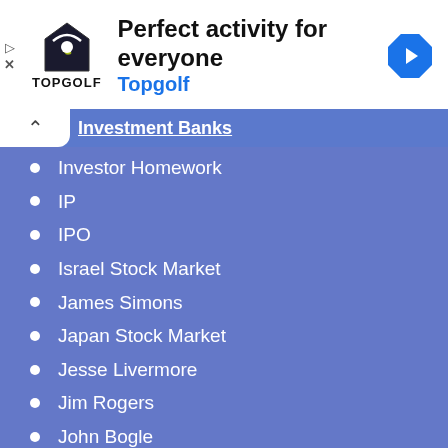[Figure (screenshot): Topgolf advertisement banner with logo, headline 'Perfect activity for everyone', brand name 'Topgolf', navigation arrow icon, play and close buttons]
Investment Banks
Investor Homework
IP
IPO
Israel Stock Market
James Simons
Japan Stock Market
Jesse Livermore
Jim Rogers
John Bogle
John Maynard Keynes
John Templeton
Khu Peng-lam